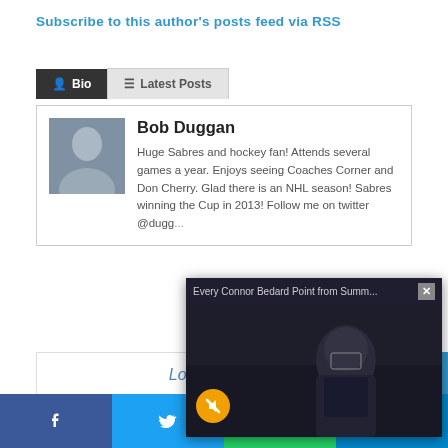Subscribe to this author's posts feed via RSS
Bio  Latest Posts
[Figure (photo): Author profile photo of Bob Duggan]
Bob Duggan
Huge Sabres and hockey fan! Attends several games a year. Enjoys seeing Coaches Corner and Don Cherry. Glad there is an NHL season! Sabres winning the Cup in 2013! Follow me on twitter @dugg...
[Figure (screenshot): Video popup overlay showing 'Every Connor Bedard Point from Summ...' with a hockey player and GOAL banner, mute button, and close button]
Love Reac...
[Figure (infographic): Social share bar with Facebook, Twitter, WhatsApp, and Telegram buttons]